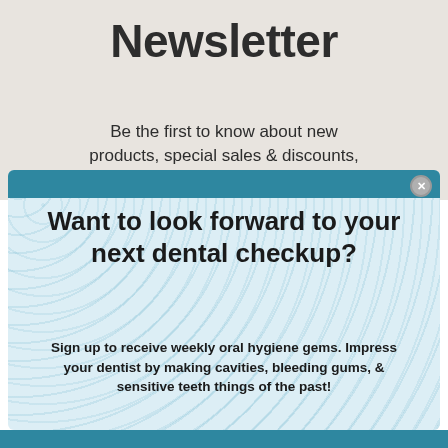Newsletter
Be the first to know about new products, special sales & discounts,
[Figure (screenshot): A dental newsletter popup modal with teal header bar, close button, headline text, body text, email input field, orange sign-up button, and privacy notice on a light blue patterned background.]
Want to look forward to your next dental checkup?
Sign up to receive weekly oral hygiene gems. Impress your dentist by making cavities, bleeding gums, & sensitive teeth things of the past!
Enter your email here
Sign me up :)
We take your privacy very seriously and will never sell, trade, or abuse your information.